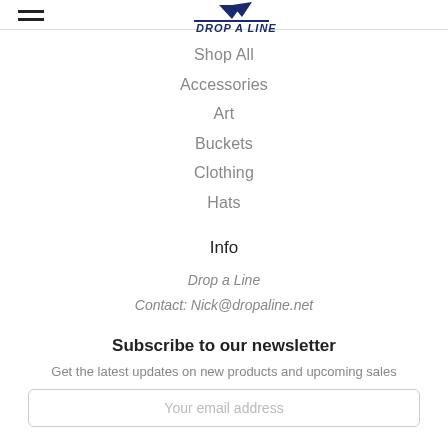DROP A LINE (logo with navigation hamburger)
Shop All
Accessories
Art
Buckets
Clothing
Hats
Info
Drop a Line
Contact: Nick@dropaline.net
Subscribe to our newsletter
Get the latest updates on new products and upcoming sales
Your email address